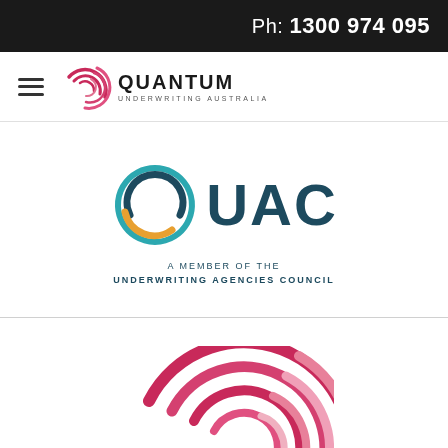Ph: 1300 974 095
[Figure (logo): Quantum Underwriting Australia logo — circular swirl in pink/red with the text QUANTUM and tagline UNDERWRITING AUSTRALIA]
[Figure (logo): UAC — A Member of the Underwriting Agencies Council logo — circular icon with teal and orange arcs, dark teal text UAC, and subtitle A MEMBER OF THE UNDERWRITING AGENCIES COUNCIL]
[Figure (logo): Quantum Underwriting Australia circular swirl logo in pink/rose tones, large partial view at bottom of page]